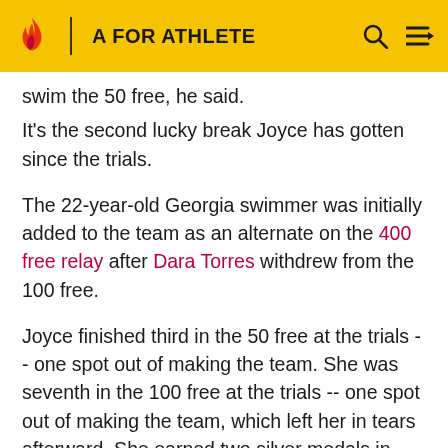A FOR ATHLETE
swim the 50 free, he said.
It's the second lucky break Joyce has gotten since the trials.
The 22-year-old Georgia swimmer was initially added to the team as an alternate on the 400 free relay after Dara Torres withdrew from the 100 free.
Joyce finished third in the 50 free at the trials -- one spot out of making the team. She was seventh in the 100 free at the trials -- one spot out of making the team, which left her in tears afterward. She earned two silver medals in Athens, in the 400 free and 400 medley relays.
The 100 breast will be Soni's second individual event; she